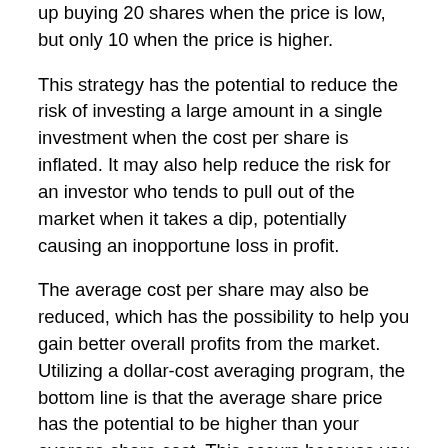up buying 20 shares when the price is low, but only 10 when the price is higher.
This strategy has the potential to reduce the risk of investing a large amount in a single investment when the cost per share is inflated. It may also help reduce the risk for an investor who tends to pull out of the market when it takes a dip, potentially causing an inopportune loss in profit.
The average cost per share may also be reduced, which has the possibility to help you gain better overall profits from the market. Utilizing a dollar-cost averaging program, the bottom line is that the average share price has the potential to be higher than your average share cost. This occurs because you purchased fewer shares when the stock was priced high and more shares when the price was low. Dollar-cost averaging can also help you to avoid the annoyance and stress of continually monitoring the market in an attempt to buy and sell at “fortuitous” moments.
Dollar-cost averaging is a long-range plan, as implied by